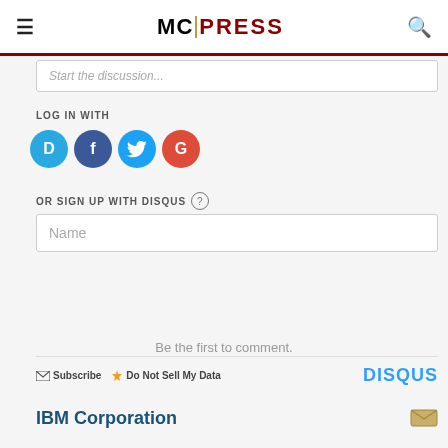MC PRESS
Start the discussion...
LOG IN WITH
[Figure (other): Social login icons: Disqus (D), Facebook (f), Twitter bird, Google (G)]
OR SIGN UP WITH DISQUS (?)
Name
Be the first to comment.
Subscribe  Do Not Sell My Data  DISQUS
IBM Corporation